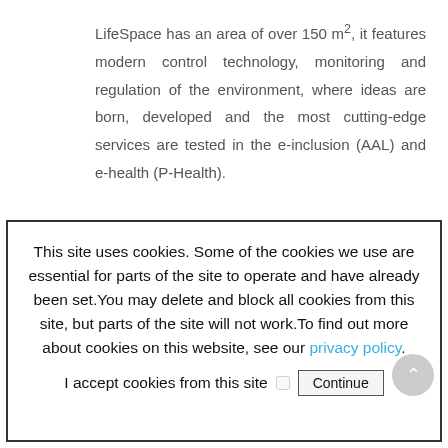LifeSpace has an area of over 150 m², it features modern control technology, monitoring and regulation of the environment, where ideas are born, developed and the most cutting-edge services are tested in the e-inclusion (AAL) and e-health (P-Health).
It consists of 3 distinct areas:
This site uses cookies. Some of the cookies we use are essential for parts of the site to operate and have already been set. You may delete and block all cookies from this site, but parts of the site will not work. To find out more about cookies on this website, see our privacy policy. I accept cookies from this site  Continue